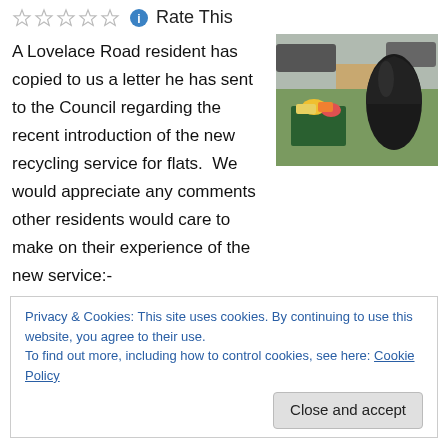Rate This
A Lovelace Road resident has copied to us a letter he has sent to the Council regarding the recent introduction of the new recycling service for flats.  We would appreciate any comments other residents would care to make on their experience of the new service:-
[Figure (photo): Outdoor photo showing recycling bins with colourful items and a large black bin bag on grass near a residential street]
Privacy & Cookies: This site uses cookies. By continuing to use this website, you agree to their use.
To find out more, including how to control cookies, see here: Cookie Policy
Close and accept
of recycling, and have for many years, at my own